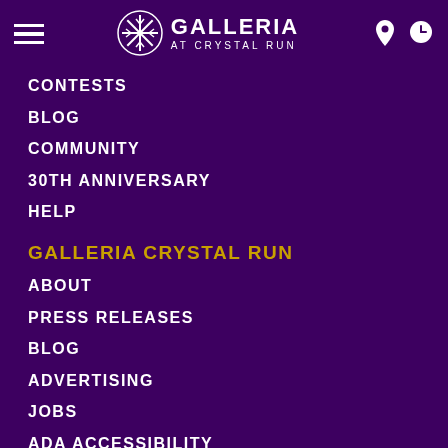GALLERIA AT CRYSTAL RUN
CONTESTS
BLOG
COMMUNITY
30TH ANNIVERSARY
HELP
GALLERIA CRYSTAL RUN
ABOUT
PRESS RELEASES
BLOG
ADVERTISING
JOBS
ADA ACCESSIBILITY
PRIVACY POLICY
MERCHANT LOGIN
SECURITY
ORANGE COUNTY/ TOWN OF WALLKILL
SAVINGS PROGRAM